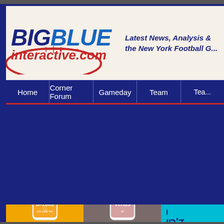[Figure (logo): Big Blue Interactive logo with red oval football graphic, site name in navy/blue italic bold text, and tagline 'Latest News, Analysis & the New York Football G...']
Home | Corner Forum | Gameday | Team | Tea...
[Figure (photo): Advertisement banner showing three sections: yellow background with D-1000 vitamin D supplement bottle, gray background with Venus supplement bottle, cyan background with Hebrew text]